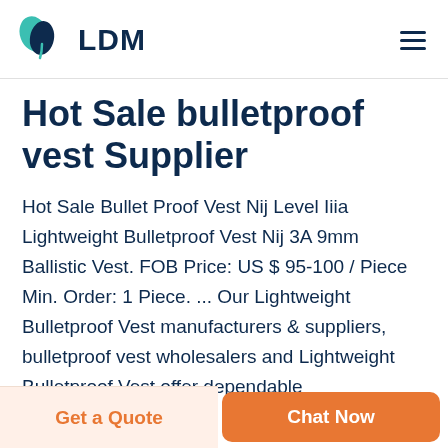LDM
Hot Sale bulletproof vest Supplier
Hot Sale Bullet Proof Vest Nij Level Iiia Lightweight Bulletproof Vest Nij 3A 9mm Ballistic Vest. FOB Price: US $ 95-100 / Piece Min. Order: 1 Piece. ... Our Lightweight Bulletproof Vest manufacturers & suppliers, bulletproof vest wholesalers and Lightweight Bulletproof Vest offer dependable
Get a Quote
Chat Now